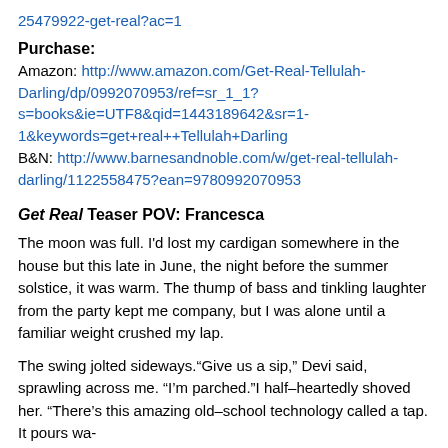25479922-get-real?ac=1
Purchase:
Amazon: http://www.amazon.com/Get-Real-Tellulah-Darling/dp/0992070953/ref=sr_1_1?s=books&ie=UTF8&qid=1443189642&sr=1-1&keywords=get+real++Tellulah+Darling
B&N: http://www.barnesandnoble.com/w/get-real-tellulah-darling/1122558475?ean=9780992070953
Get Real Teaser POV: Francesca
The moon was full. I'd lost my cardigan somewhere in the house but this late in June, the night before the summer solstice, it was warm. The thump of bass and tinkling laughter from the party kept me company, but I was alone until a familiar weight crushed my lap.
The swing jolted sideways.“Give us a sip,” Devi said, sprawling across me. “I’m parched.”I half–heartedly shoved her. “There’s this amazing old–school technology called a tap. It pours wa-